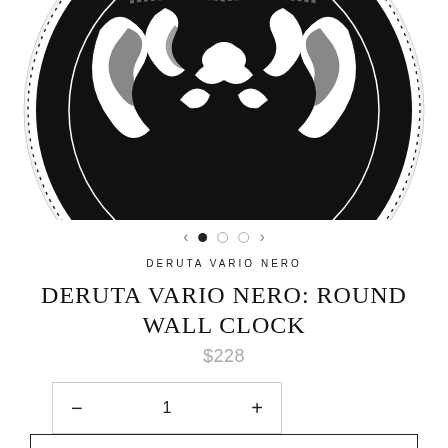[Figure (photo): Close-up of a round decorative wall clock with black and white baroque/Italian majolica style pattern — Deruta Vario Nero design. The face shows intricate scrolling acanthus leaves and floral motifs in white on black background, with a dotted border ring. Only the top portion of the circular clock is visible, cropped at the bottom.]
DERUTA VARIO NERO
DERUTA VARIO NERO: ROUND WALL CLOCK
$228
− 1 +